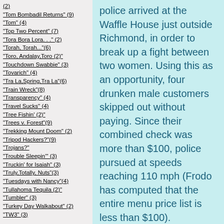(2)
"Tom Bombadil Returns" (9)
"Tom" (4)
"Top Two Percent" (7)
"Tora Bora Lora. . ." (2)
"Torah, Torah..."(6)
"Toro, Andalay,Toro (2)"
"Touchdown Swabbie" (3)
"Tovarich" (4)
"Tra La,Spring,Tra La"(6)
"Train Wreck"(8)
"Transparency" (4)
"Travel Sucks" (4)
"Tree Fishin' (2)"
"Trees v. Forest"(9)
"Trekking Mount Doom" (2)
"Tripod Hackers?"(9)
"Trojans?"
"Trouble Sleepin'" (3)
"Truckin' for Isaiah" (3)
"Truly,Totally, Nuts"(3)
"Tuesdays with Nancy"(4)
"Tullahoma Tequila (2)"
"Tumbler" (3)
"Turkey Day Walkabout" (2)
"TW3" (3)
police arrived at the Waffle House just outside Richmond, in order to break up a fight between two women.  Using this as an opportunity, four drunken male customers skipped out without paying.  Since their combined check was more than $100, police pursued at speeds reaching 110 mph (Frodo has computed that the entire menu price list is less than $100).
Without further explanation, in April of that same year, an Atlanta man barricaded himself in the mens room at the Waffle House just off Northside Drive in Atlanta. When police broke down the